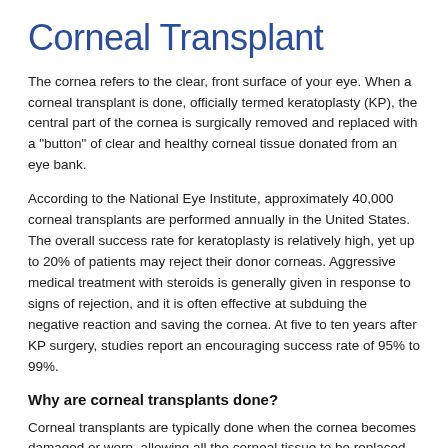Corneal Transplant
The cornea refers to the clear, front surface of your eye. When a corneal transplant is done, officially termed keratoplasty (KP), the central part of the cornea is surgically removed and replaced with a "button" of clear and healthy corneal tissue donated from an eye bank.
According to the National Eye Institute, approximately 40,000 corneal transplants are performed annually in the United States. The overall success rate for keratoplasty is relatively high, yet up to 20% of patients may reject their donor corneas. Aggressive medical treatment with steroids is generally given in response to signs of rejection, and it is often effective at subduing the negative reaction and saving the cornea. At five to ten years after KP surgery, studies report an encouraging success rate of 95% to 99%.
Why are corneal transplants done?
Corneal transplants are typically done when the cornea becomes damaged or worn, allowing all the corneal tissue to be replaced.